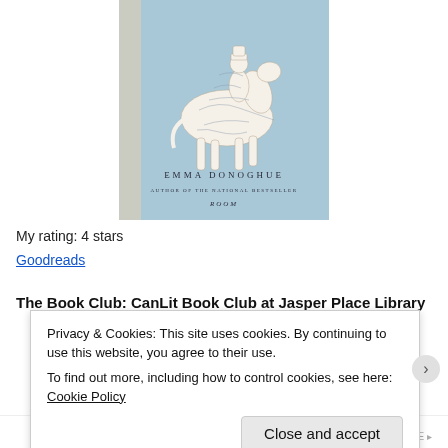[Figure (illustration): Book cover of a novel by Emma Donoghue, author of the national bestseller Room. Light blue background with a white silhouette of a person on a horseback made from map lines. Text reads EMMA DONOGHUE, AUTHOR OF THE NATIONAL BESTSELLER, ROOM.]
My rating: 4 stars
Goodreads
The Book Club: CanLit Book Club at Jasper Place Library
Privacy & Cookies: This site uses cookies. By continuing to use this website, you agree to their use.
To find out more, including how to control cookies, see here: Cookie Policy
Close and accept